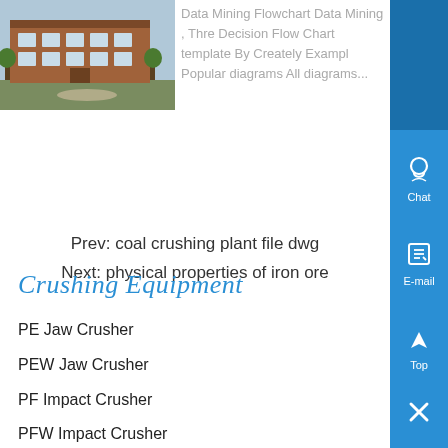[Figure (photo): Exterior photo of an industrial building with red brick facade and trees]
Data Mining Flowchart Data Mining , Thre Decision Flow Chart template By Creately Exampl Popular diagrams All diagrams...
Prev: coal crushing plant file dwg
Next: physical properties of iron ore
Crushing Equipment
PE Jaw Crusher
PEW Jaw Crusher
PF Impact Crusher
PFW Impact Crusher